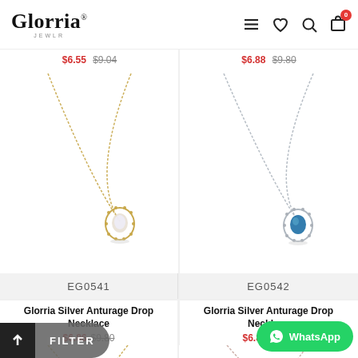Glorria — navigation header with menu, wishlist, search, cart icons
$6.55 $9.04
[Figure (photo): Gold tone necklace with teardrop opal pendant surrounded by small cubic zirconia stones]
$6.88 $9.80
[Figure (photo): Silver tone necklace with blue teardrop gemstone pendant surrounded by small cubic zirconia stones]
EG0541
EG0542
Glorria Silver Anturage Drop Necklace
Glorria Silver Anturage Drop Necklace
$6.86 $9.80
$6.86 $9.80
[Figure (photo): Partial view of gold tone necklace chain at bottom of page]
[Figure (photo): Partial view of rose gold tone necklace chain at bottom of page]